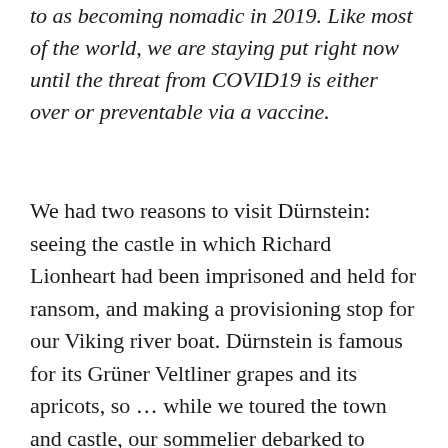to as becoming nomadic in 2019. Like most of the world, we are staying put right now until the threat from COVID19 is either over or preventable via a vaccine.
We had two reasons to visit Dürnstein: seeing the castle in which Richard Lionheart had been imprisoned and held for ransom, and making a provisioning stop for our Viking river boat. Dürnstein is famous for its Grüner Veltliner grapes and its apricots, so ... while we toured the town and castle, our sommelier debarked to collect cases of Grüner Veltliner wine, and our